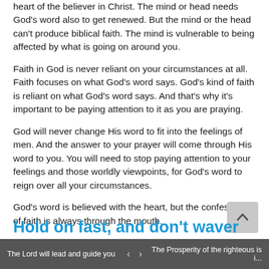heart of the believer in Christ. The mind or head needs God's word also to get renewed. But the mind or the head can't produce biblical faith. The mind is vulnerable to being affected by what is going on around you.
Faith in God is never reliant on your circumstances at all. Faith focuses on what God's word says. God's kind of faith is reliant on what God's word says. And that's why it's important to be paying attention to it as you are praying.
God will never change His word to fit into the feelings of men. And the answer to your prayer will come through His word to you. You will need to stop paying attention to your feelings and those worldly viewpoints, for God's word to reign over all your circumstances.
God's word is believed with the heart, but the confession of faith is always through the mouth.
Hold on fast, and don't waver
The Lord will lead and guide you   <   >   The Prosperity of the righteous is i...